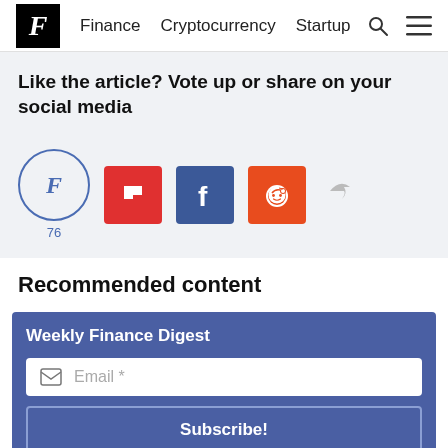F  Finance  Cryptocurrency  Startup
Like the article? Vote up or share on your social media
[Figure (screenshot): Social sharing icons: vote circle with F and count 76, Flipboard, Facebook, Reddit, and share arrow]
Recommended content
Weekly Finance Digest
Email *
Subscribe!